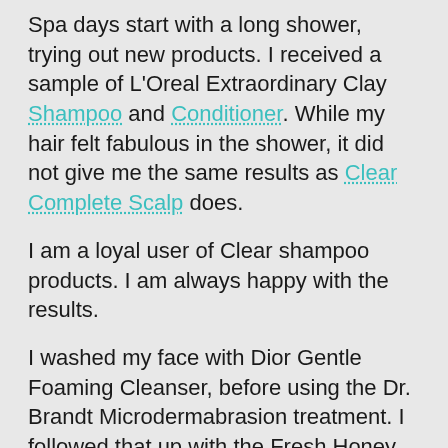Spa days start with a long shower, trying out new products. I received a sample of L'Oreal Extraordinary Clay Shampoo and Conditioner. While my hair felt fabulous in the shower, it did not give me the same results as Clear Complete Scalp does.
I am a loyal user of Clear shampoo products. I am always happy with the results.
I washed my face with Dior Gentle Foaming Cleanser, before using the Dr. Brandt Microdermabrasion treatment. I followed that up with the Fresh Honey Mask and then the Karuna K-Beauty mask.
I applied the One Love Organics to my arms and legs. It's a nice oil spray you can mist onto your body post-shower.
After the masks, I exfoliated my lips using the Fresh